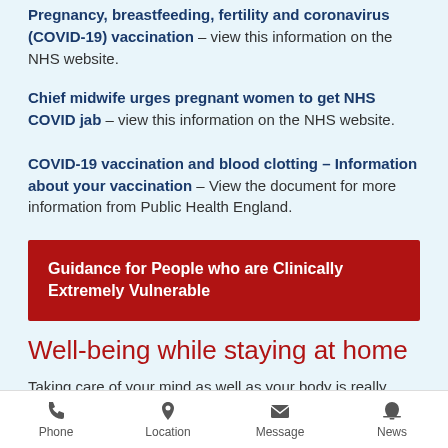Pregnancy, breastfeeding, fertility and coronavirus (COVID-19) vaccination – view this information on the NHS website.
Chief midwife urges pregnant women to get NHS COVID jab – view this information on the NHS website.
COVID-19 vaccination and blood clotting – Information about your vaccination – View the document for more information from Public Health England.
Guidance for People who are Clinically Extremely Vulnerable
Well-being while staying at home
Taking care of your mind as well as your body is really important while staying at home because of coronavirus
Phone | Location | Message | News